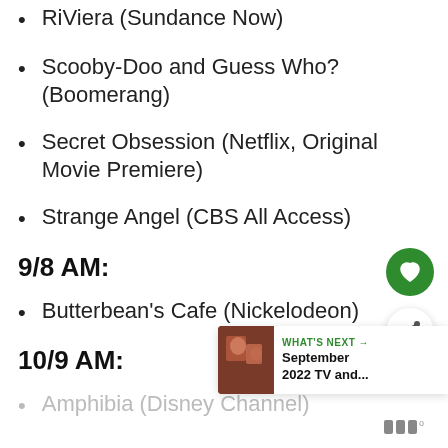RiViera (Sundance Now)
Scooby-Doo and Guess Who? (Boomerang)
Secret Obsession (Netflix, Original Movie Premiere)
Strange Angel (CBS All Access)
9/8 AM:
Butterbean's Cafe (Nickelodeon)
10/9 AM:
Amphibia (Disney Channel)